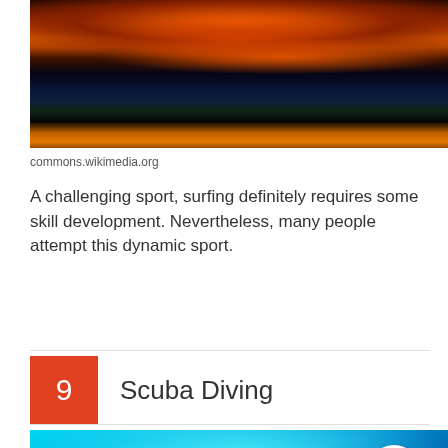[Figure (photo): Dark ocean wave photo with orange and red tones from sunset light hitting the surf]
commons.wikimedia.org
A challenging sport, surfing definitely requires some skill development. Nevertheless, many people attempt this dynamic sport.
9  Scuba Diving
[Figure (photo): Underwater scuba diving photo with bright cyan and blue water tones]